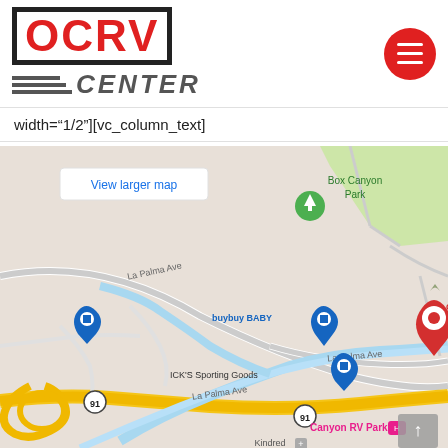[Figure (logo): OCRV Center logo — red bold lettering 'OCRV' with dark bordered box, and 'CENTER' in dark italic with horizontal lines to the left]
[Figure (other): Red hamburger menu button (circle with three white lines)]
width="1/2"][vc_column_text]
[Figure (map): Google Maps screenshot showing OCRV Center - RV Collision Repair location near La Palma Ave and Route 91, with Box Canyon Park visible, buybuy BABY, DICK'S Sporting Goods, Canyon RV Park markers, and a red pin at OCRV Center. 'View larger map' button in top left of map.]